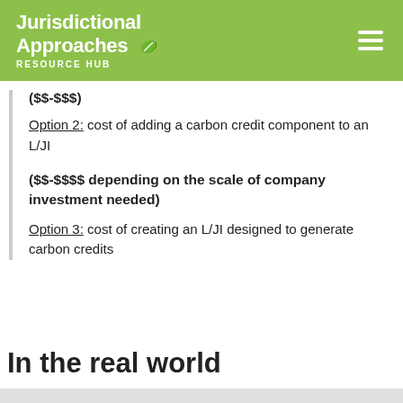Jurisdictional Approaches Resource Hub
($$-$$$)
Option 2: cost of adding a carbon credit component to an L/JI
($$$-$$$$ depending on the scale of company investment needed)
Option 3: cost of creating an L/JI designed to generate carbon credits
In the real world